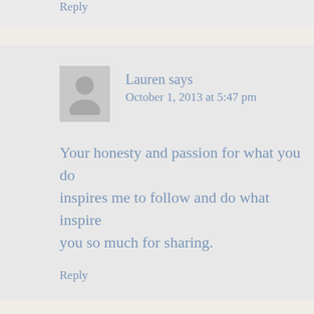Reply
Lauren says
October 1, 2013 at 5:47 pm
Your honesty and passion for what you do inspires me to follow and do what inspires you so much for sharing.
Reply